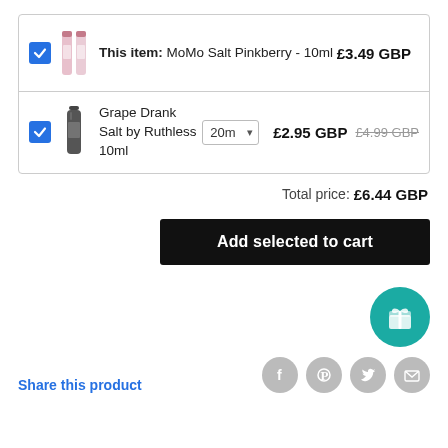| Selected | Image | Product | Quantity | Price | Original Price |
| --- | --- | --- | --- | --- | --- |
| ✓ | [image] | This item: MoMo Salt Pinkberry - 10ml |  | £3.49 GBP |  |
| ✓ | [image] | Grape Drank Salt by Ruthless 10ml | 20m | £2.95 GBP | £4.99 GBP |
Total price: £6.44 GBP
Add selected to cart
Share this product